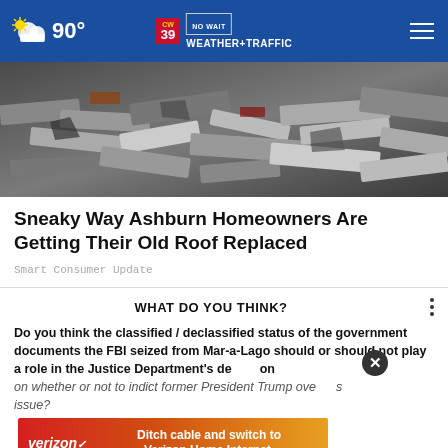90° CW39 NO WAIT WEATHER+TRAFFIC
[Figure (photo): Pile of old roof shingles and debris]
Sneaky Way Ashburn Homeowners Are Getting Their Old Roof Replaced
Smart Consumer Update
WHAT DO YOU THINK?
Do you think the classified / declassified status of the government documents the FBI seized from Mar-a-Lago should or should not play a role in the Justice Department's decision on whether or not to indict former President Trump over this issue?
[Figure (infographic): Verizon advertisement banner: Ditch cable and switch to Verizon Home Internet.]
Definitely should play a role